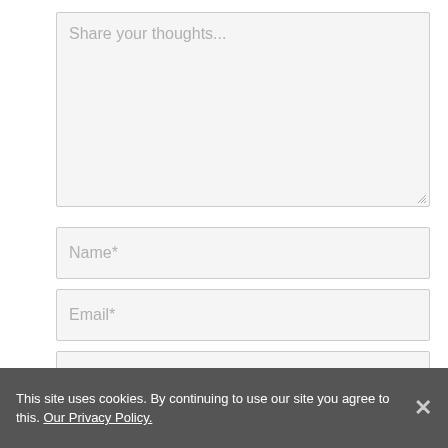[Figure (screenshot): Web form textarea with placeholder text 'Share your thoughts...']
[Figure (screenshot): Web form input field with placeholder text 'Name*']
[Figure (screenshot): Web form input field with placeholder text 'Email*']
[Figure (screenshot): Web form input field with placeholder text 'Website']
This site uses cookies. By continuing to use our site you agree to this. Our Privacy Policy.